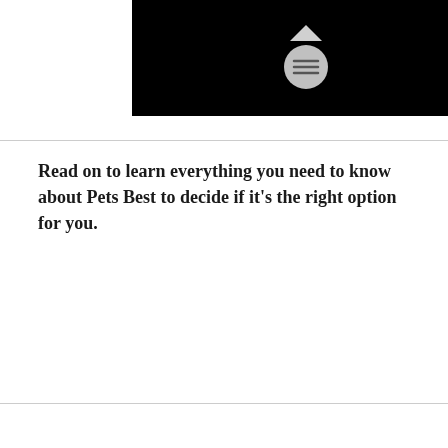[Figure (screenshot): Black video player thumbnail with a circular play button control overlay in the center]
Read on to learn everything you need to know about Pets Best to decide if it's the right option for you.